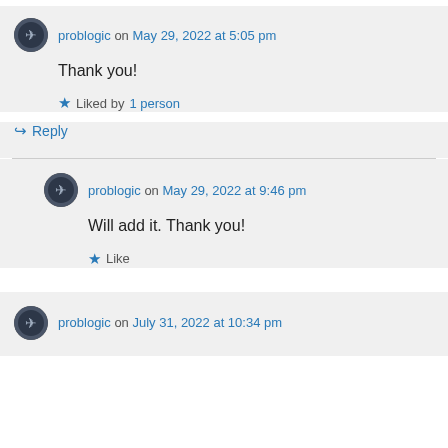problogic on May 29, 2022 at 5:05 pm
Thank you!
★ Liked by 1 person
↪ Reply
problogic on May 29, 2022 at 9:46 pm
Will add it. Thank you!
★ Like
problogic on July 31, 2022 at 10:34 pm